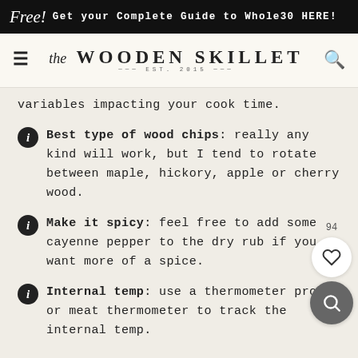Free! Get your Complete Guide to Whole30 HERE!
[Figure (logo): The Wooden Skillet logo with EST. 2015, navigation bar with hamburger menu and search icon]
variables impacting your cook time.
Best type of wood chips: really any kind will work, but I tend to rotate between maple, hickory, apple or cherry wood.
Make it spicy: feel free to add some cayenne pepper to the dry rub if you want more of a spice.
Internal temp: use a thermometer probe or meat thermometer to track the internal temp.